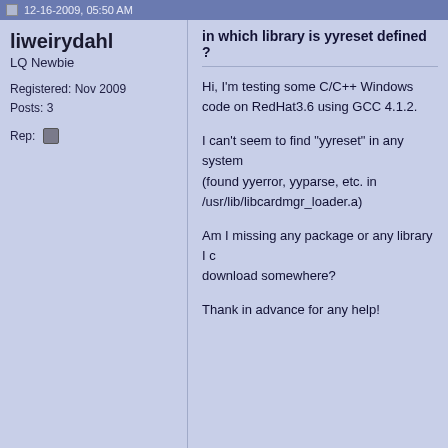12-16-2009, 05:50 AM
liweirydahl
LQ Newbie
Registered: Nov 2009
Posts: 3
Rep:
in which library is yyreset defined ?
Hi, I'm testing some C/C++ Windows code on RedHat3.6 using GCC 4.1.2.

I can't seem to find "yyreset" in any system (found yyerror, yyparse, etc. in /usr/lib/libcardmgr_loader.a)

Am I missing any package or any library I can download somewhere?

Thank in advance for any help!